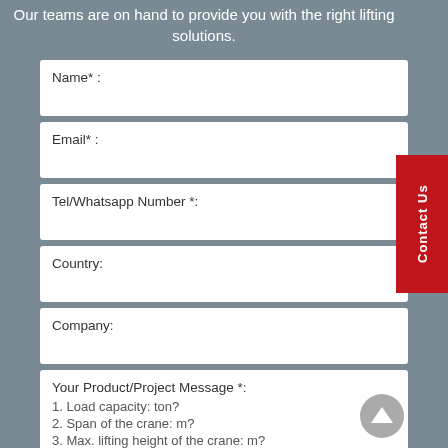Our teams are on hand to provide you with the right lifting solutions.
Name* :
Email* :
Tel/Whatsapp Number *:
Country:
Company:
Your Product/Project Message *:
1. Load capacity: ton?
2. Span of the crane: m?
3. Max. lifting height of the crane: m?
4. What materials will be handled?
5. How many hours will the crane work per day: ?
6. When will you plan to use the product?